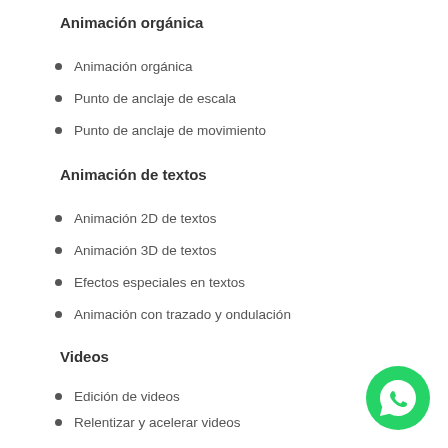Animación orgánica
Animación orgánica
Punto de anclaje de escala
Punto de anclaje de movimiento
Animación de textos
Animación 2D de textos
Animación 3D de textos
Efectos especiales en textos
Animación con trazado y ondulación
Videos
Edición de videos
Relentizar y acelerar videos
Transiciones
Tracking de videos
[Figure (logo): WhatsApp green circular button icon]